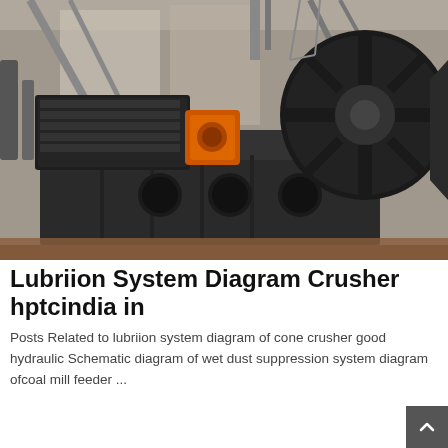[Figure (photo): Industrial crusher machine with large black metal body, orange coupling, electric motor on the left side, and a large fan/blower wheel on the right. The machine sits in an industrial facility with concrete floor and structural supports visible in the background.]
Lubriion System Diagram Crusher hptcindia in
Posts Related to lubriion system diagram of cone crusher good hydraulic Schematic diagram of wet dust suppression system diagram ofcoal mill feeder ...